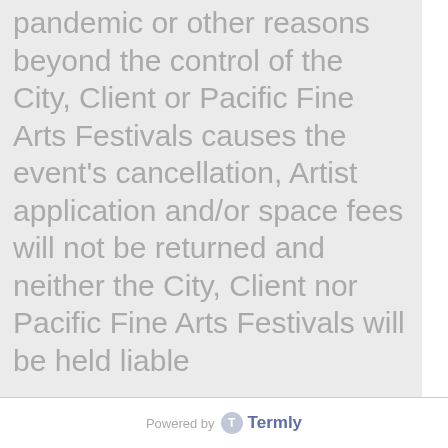pandemic or other reasons beyond the control of the City, Client or Pacific Fine Arts Festivals causes the event's cancellation, Artist application and/or space fees will not be returned and neither the City, Client nor Pacific Fine Arts Festivals will be held liable
[Figure (logo): Powered by Termly logo]
We use cookies to improve user experience and analyze website traffic. By clicking “Accept,” you agree to our website’s cookie use as described in our Cookie Policy. You can change your cookie settings at any time by clicking “Preferences.”
Decline
Accept
Preferences